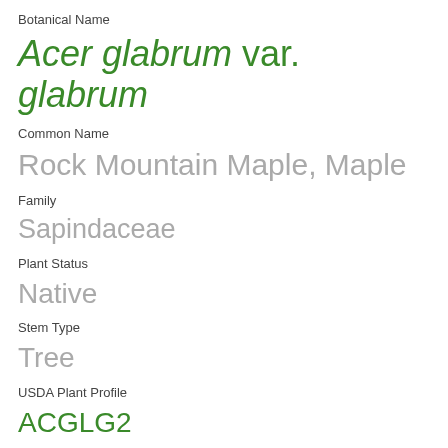Botanical Name
Acer glabrum var. glabrum
Common Name
Rock Mountain Maple, Maple
Family
Sapindaceae
Plant Status
Native
Stem Type
Tree
USDA Plant Profile
ACGLG2
Resources
[Figure (illustration): Google Maps icon and camera/photo icon buttons for resource links]
Status Links